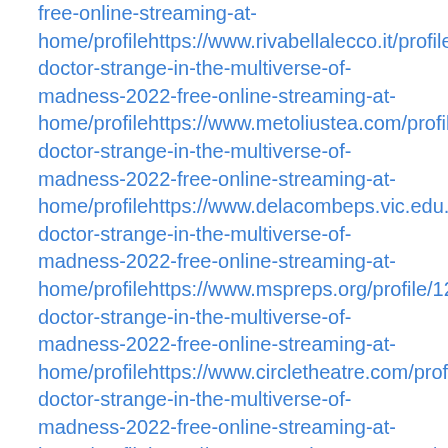free-online-streaming-at-home/profilehttps://www.rivabellalecco.it/profile/123movies-doctor-strange-in-the-multiverse-of-madness-2022-free-online-streaming-at-home/profilehttps://www.metoliustea.com/profile/123movies-doctor-strange-in-the-multiverse-of-madness-2022-free-online-streaming-at-home/profilehttps://www.delacombeps.vic.edu.au/profile/123movies-doctor-strange-in-the-multiverse-of-madness-2022-free-online-streaming-at-home/profilehttps://www.mspreps.org/profile/123movies-doctor-strange-in-the-multiverse-of-madness-2022-free-online-streaming-at-home/profilehttps://www.circletheatre.com/profile/123movies-doctor-strange-in-the-multiverse-of-madness-2022-free-online-streaming-at-home/profilehttps://www.azcattlegrowers.org/